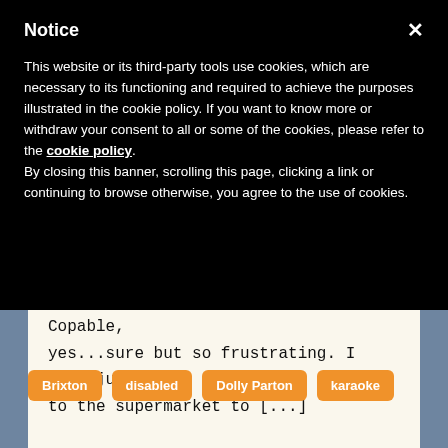Notice
This website or its third-party tools use cookies, which are necessary to its functioning and required to achieve the purposes illustrated in the cookie policy. If you want to know more or withdraw your consent to all or some of the cookies, please refer to the cookie policy.
By closing this banner, scrolling this page, clicking a link or continuing to browse otherwise, you agree to the use of cookies.
are actually working this morning. Copable, yes...sure but so frustrating. I have just been to the supermarket to [...]
Brixton
disabled
Dolly Parton
karaoke